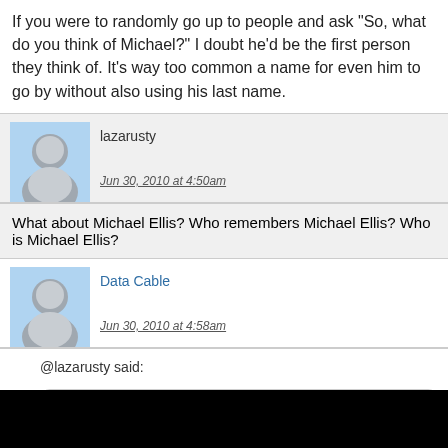If you were to randomly go up to people and ask "So, what do you think of Michael?" I doubt he'd be the first person they think of. It's way too common a name for even him to go by without also using his last name.
lazarusty
Jun 30, 2010 at 4:50am
What about Michael Ellis? Who remembers Michael Ellis? Who is Michael Ellis?
Data Cable
Jun 30, 2010 at 4:58am
@lazarusty said:
Who is Michael Ellis?
He's got that island in NY harbor, right?
lazarusty